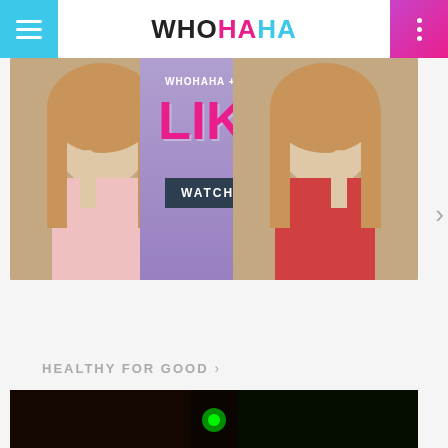WHOHAHA
[Figure (photo): Two young women with fingers to their lips (shushing gesture) on either side of a purple background with pink 'LIKED' text and a dark 'WATCH NOW' button. WhoHaha branded promotional banner.]
HEALTHY FOR GOOD >
[Figure (photo): Dark thumbnail image at bottom of screen, partially visible.]